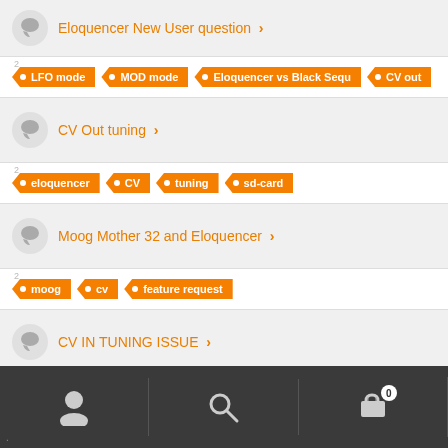Eloquencer New User question
Tags: LFO mode, MOD mode, Eloquencer vs Black Sequ, CV out
CV Out tuning
Tags: eloquencer, CV, tuning, sd-card
Moog Mother 32 and Eloquencer
Tags: moog, cv, feature request
CV IN TUNING ISSUE
Tags: CV input wrong tuning
User | Search | Cart (0)